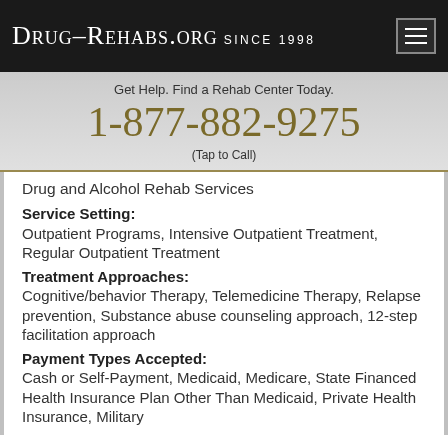Drug-Rehabs.org Since 1998
Get Help. Find a Rehab Center Today.
1-877-882-9275
(Tap to Call)
Drug and Alcohol Rehab Services
Service Setting:
Outpatient Programs, Intensive Outpatient Treatment, Regular Outpatient Treatment
Treatment Approaches:
Cognitive/behavior Therapy, Telemedicine Therapy, Relapse prevention, Substance abuse counseling approach, 12-step facilitation approach
Payment Types Accepted:
Cash or Self-Payment, Medicaid, Medicare, State Financed Health Insurance Plan Other Than Medicaid, Private Health Insurance, Military Insurance (e.g., Tricare), Sliding Fee Scale (Fes...